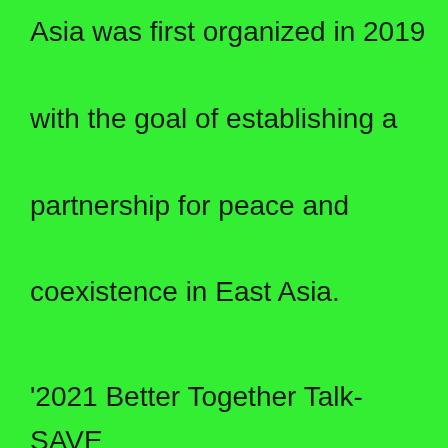Asia was first organized in 2019 with the goal of establishing a partnership for peace and coexistence in East Asia.
'2021 Better Together Talk-SAVE OUR FUTURE' invites and talks with change-makers from various fields working for a better tomorrow.
Please join us when the event goes available to be viewed on YouTube live.